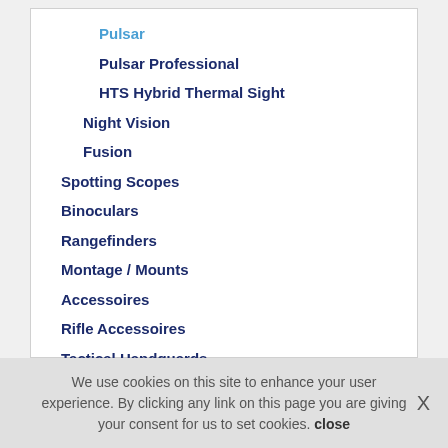Pulsar
Pulsar Professional
HTS Hybrid Thermal Sight
Night Vision
Fusion
Spotting Scopes
Binoculars
Rangefinders
Montage / Mounts
Accessoires
Rifle Accessoires
Tactical Handguards
OPS-CORE Helmets
OPEN BOX / DEMO MODELS
We use cookies on this site to enhance your user experience. By clicking any link on this page you are giving your consent for us to set cookies. close